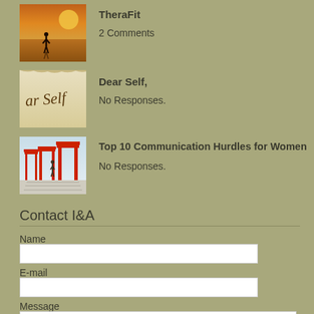[Figure (photo): Thumbnail image of a person silhouetted on a beach at sunset]
TheraFit
2 Comments
[Figure (photo): Thumbnail image with cursive text 'ar Self' on a light beige background]
Dear Self,
No Responses.
[Figure (photo): Thumbnail image of a path lined with red torii gates]
Top 10 Communication Hurdles for Women
No Responses.
Contact I&A
Name
E-mail
Message